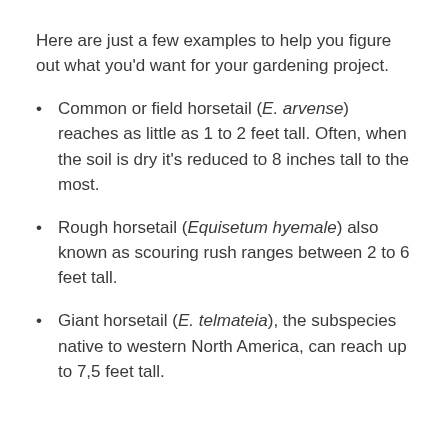Here are just a few examples to help you figure out what you'd want for your gardening project.
Common or field horsetail (E. arvense) reaches as little as 1 to 2 feet tall. Often, when the soil is dry it's reduced to 8 inches tall to the most.
Rough horsetail (Equisetum hyemale) also known as scouring rush ranges between 2 to 6 feet tall.
Giant horsetail (E. telmateia), the subspecies native to western North America, can reach up to 7,5 feet tall.